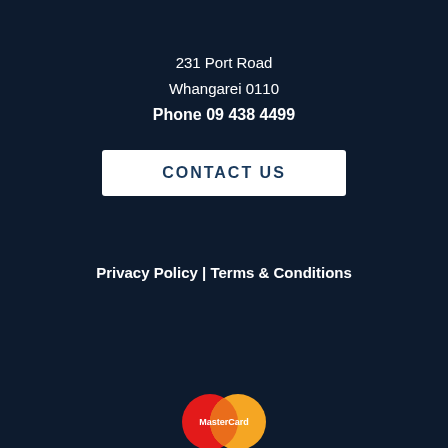231 Port Road
Whangarei 0110
Phone 09 438 4499
CONTACT US
Privacy Policy | Terms & Conditions
[Figure (logo): Partial logo text reading 'BEATINGS OUTDOORS' or similar, with an orange circle element, cropped at bottom]
[Figure (logo): MasterCard logo with overlapping red and orange circles and white MasterCard text]